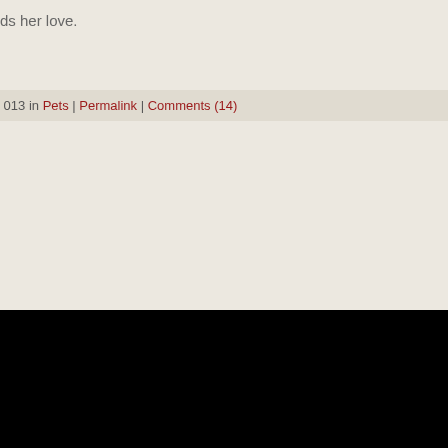ds her love.
013 in Pets | Permalink | Comments (14)
[Figure (screenshot): YouTube video embed showing 'Cat Sees Owner After 6 Month Leave' with black video area and YouTube logo/watch on YouTube bar at bottom]